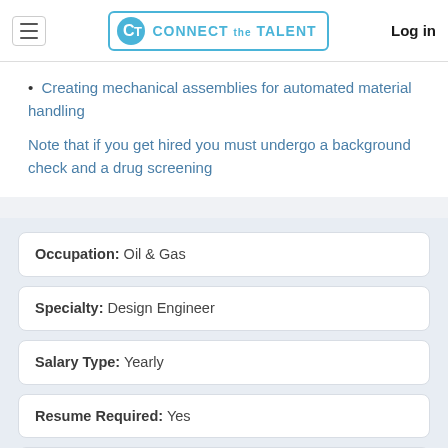Connect the Talent — Log in
• Creating mechanical assemblies for automated material handling
Note that if you get hired you must undergo a background check and a drug screening
Occupation: Oil & Gas
Specialty: Design Engineer
Salary Type: Yearly
Resume Required: Yes
Visa sponsorship provided: No